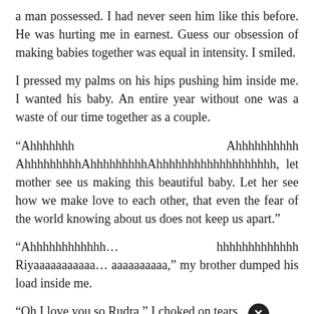a man possessed. I had never seen him like this before. He was hurting me in earnest. Guess our obsession of making babies together was equal in intensity. I smiled.
I pressed my palms on his hips pushing him inside me. I wanted his baby. An entire year without one was a waste of our time together as a couple.
“Ahhhhhhh Ahhhhhhhhhh AhhhhhhhhhAhhhhhhhhhAhhhhhhhhhhhhhhhhhhh, let mother see us making this beautiful baby. Let her see how we make love to each other, that even the fear of the world knowing about us does not keep us apart.”
“Ahhhhhhhhhhhh... hhhhhhhhhhhhh Riyaaaaaaaaaaa... aaaaaaaaaa,” my brother dumped his load inside me.
“Oh I love you so Rudra,” I choked on tears.